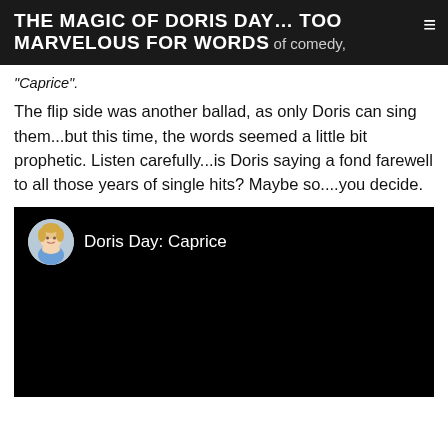THE MAGIC OF DORIS DAY… TOO MARVELOUS FOR WORDS
"Caprice".
The flip side was another ballad, as only Doris can sing them...but this time, the words seemed a little bit prophetic. Listen carefully...is Doris saying a fond farewell to all those years of single hits? Maybe so....you decide.
[Figure (screenshot): Embedded video player with black background, circular avatar of Doris Day illustration, and text 'Doris Day: Caprice']